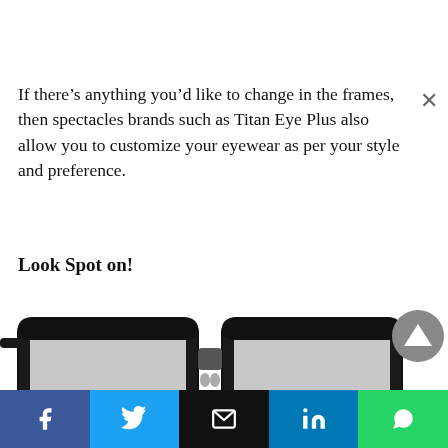If there's anything you'd like to change in the frames, then spectacles brands such as Titan Eye Plus also allow you to customize your eyewear as per your style and preference.
Look Spot on!
[Figure (photo): Close-up photo of black-framed spectacles/eyeglasses, cropped showing only the top portion of the frames]
[Figure (other): Scroll-to-top button with upward triangle arrow, dark grey circular button]
[Figure (other): Social media sharing bar with Facebook, Twitter, Email, LinkedIn, and WhatsApp buttons]